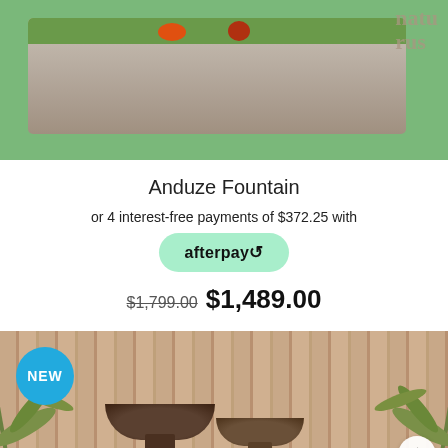[Figure (photo): Photo of a rectangular stone/concrete planter box on green grass background, with a watermark 'natus rus' in the top right corner.]
Anduze Fountain
or 4 interest-free payments of $372.25 with
[Figure (logo): Afterpay button/logo — mint green rounded rectangle with 'afterpay' in bold and a loop arrow icon.]
$1,799.00  $1,489.00
[Figure (photo): Photo of two dark bowl-shaped fountains on pedestals against a bamboo background with palm plants, with a blue 'NEW' badge in the top left and a scroll-up button in the bottom right.]